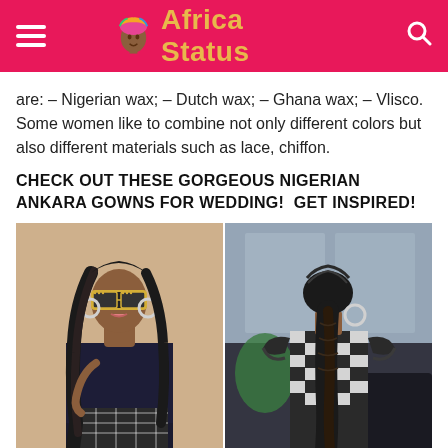Africa Status
are: – Nigerian wax; – Dutch wax; – Ghana wax; – Vlisco. Some women like to combine not only different colors but also different materials such as lace, chiffon.
CHECK OUT THESE GORGEOUS NIGERIAN ANKARA GOWNS FOR WEDDING!  GET INSPIRED!
[Figure (photo): Two photos side by side of a woman wearing a Nigerian Ankara outfit: left photo shows front view with dark lace and checkered Ankara fabric, bold rhinestone sunglasses, large hoop earrings, and long wavy hair; right photo shows back view of a woman in a checkered/houndstooth Ankara cold-shoulder dress with long braided hair and a large hoop earring.]